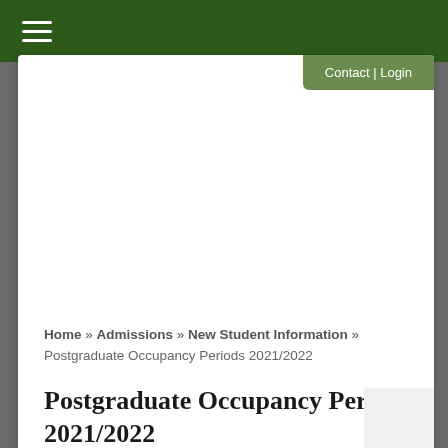≡
Contact | Login
Home » Admissions » New Student Information » Postgraduate Occupancy Periods 2021/2022
Postgraduate Occupancy Periods 2021/2022
Postgraduates at St Chad's can chose to live in either self catered or part catered accommodation.